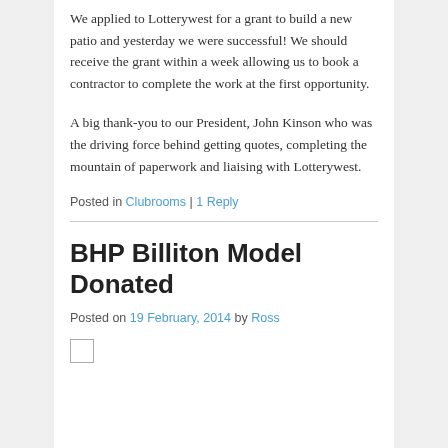We applied to Lotterywest for a grant to build a new patio and yesterday we were successful! We should receive the grant within a week allowing us to book a contractor to complete the work at the first opportunity.
A big thank-you to our President, John Kinson who was the driving force behind getting quotes, completing the mountain of paperwork and liaising with Lotterywest.
Posted in Clubrooms | 1 Reply
BHP Billiton Model Donated
Posted on 19 February, 2014 by Ross